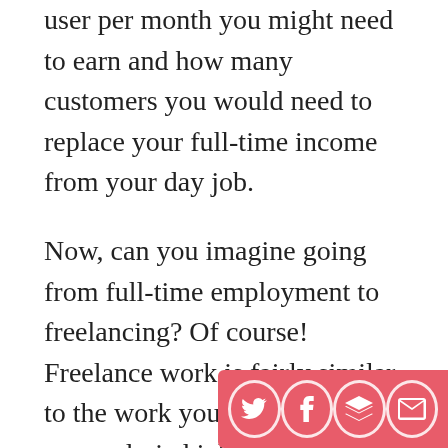user per month you might need to earn and how many customers you would need to replace your full-time income from your day job.
Now, can you imagine going from full-time employment to freelancing? Of course! Freelance work is fairly similar to the work you might do at your salaried job. It's pretty easy to understand how the skills you're using in a day job would translate into the skills you would need to deliver a service for a few clients. That's part of the key: you only need 5-10 clients paying you $1,000 a month to replace your day job income.